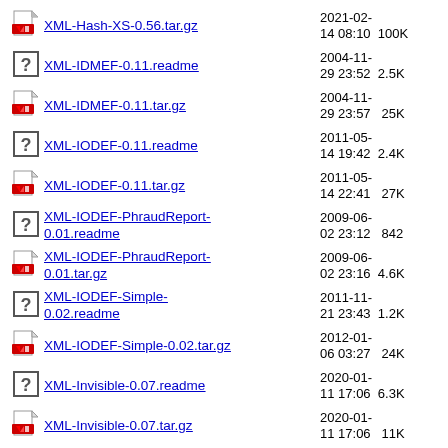XML-Hash-XS-0.56.tar.gz  2021-02-14 08:10  100K
XML-IDMEF-0.11.readme  2004-11-29 23:52  2.5K
XML-IDMEF-0.11.tar.gz  2004-11-29 23:57  25K
XML-IODEF-0.11.readme  2011-05-14 19:42  2.4K
XML-IODEF-0.11.tar.gz  2011-05-14 22:41  27K
XML-IODEF-PhraudReport-0.01.readme  2009-06-02 23:12  842
XML-IODEF-PhraudReport-0.01.tar.gz  2009-06-02 23:16  4.6K
XML-IODEF-Simple-0.02.readme  2011-11-21 23:43  1.2K
XML-IODEF-Simple-0.02.tar.gz  2012-01-06 03:27  24K
XML-Invisible-0.07.readme  2020-01-11 17:06  6.3K
XML-Invisible-0.07.tar.gz  2020-01-11 17:06  11K